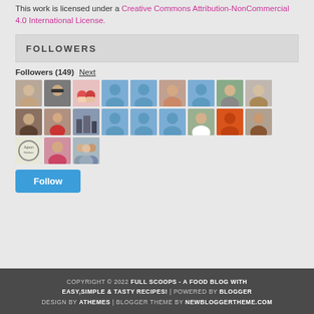This work is licensed under a Creative Commons Attribution-NonCommercial 4.0 International License.
FOLLOWERS
Followers (149) Next
[Figure (other): Grid of 21 follower avatar photos/icons in two rows plus one, including profile photos and default blue/orange user icons]
Follow
COPYRIGHT © 2022 FULL SCOOPS - A FOOD BLOG WITH EASY,SIMPLE & TASTY RECIPES! | POWERED BY BLOGGER DESIGN BY ATHEMES | BLOGGER THEME BY NEWBLOGGERTHEME.COM